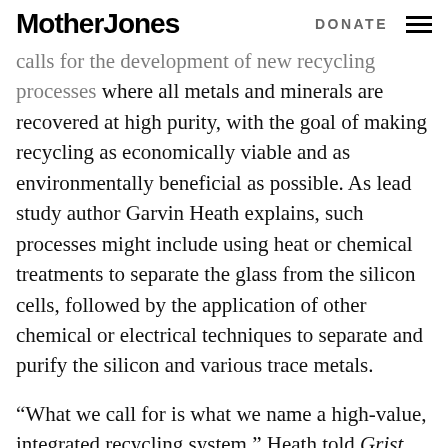Mother Jones   DONATE
calls for the development of new recycling processes where all metals and minerals are recovered at high purity, with the goal of making recycling as economically viable and as environmentally beneficial as possible. As lead study author Garvin Heath explains, such processes might include using heat or chemical treatments to separate the glass from the silicon cells, followed by the application of other chemical or electrical techniques to separate and purify the silicon and various trace metals.
“What we call for is what we name a high-value, integrated recycling system,” Heath told Grist. “High-value means we want to recover all the constituent materials that have value from these